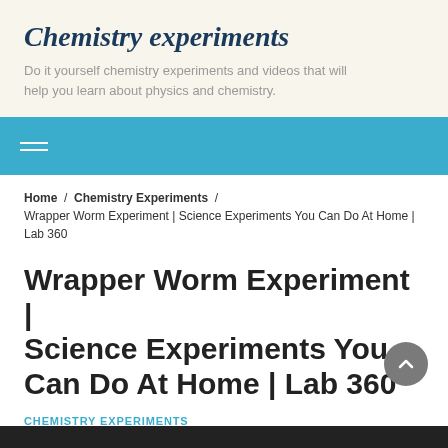Chemistry experiments
Do it yourself chemistry experiments and videos that will help you learn about physics and chemistry.
[Figure (other): Teal/blue navigation bar with hamburger menu icon (three horizontal lines)]
Home / Chemistry Experiments / Wrapper Worm Experiment | Science Experiments You Can Do At Home | Lab 360
Wrapper Worm Experiment | Science Experiments You Can Do At Home | Lab 360
CHEMISTRY EXPERIMENTS